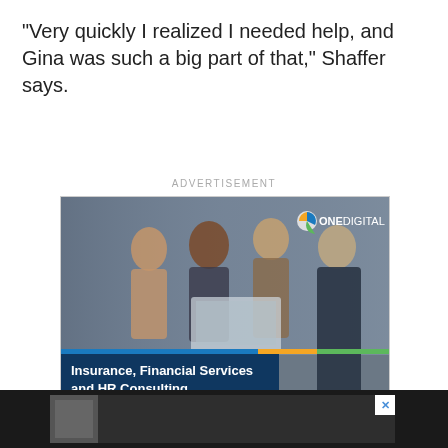“Very quickly I realized I needed help, and Gina was such a big part of that,” Shaffer says.
ADVERTISEMENT
[Figure (illustration): OneDigital advertisement showing four business professionals gathered around a laptop, with text overlay: Insurance, Financial Services and HR Consulting. Discover what the Power of One can do for your business. OneDigital logo top right.]
[Figure (photo): Dark bottom ad bar with small thumbnail image and X close button.]